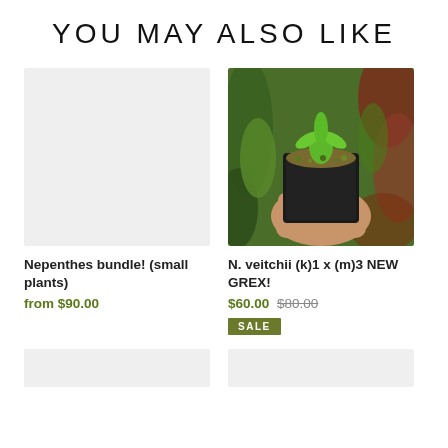YOU MAY ALSO LIKE
[Figure (photo): Placeholder light gray image for Nepenthes bundle product]
Nepenthes bundle! (small plants)
from $90.00
[Figure (photo): Photo of a hand holding a small potted carnivorous plant (Venus flytrap or similar) in a black square pot with moss, surrounded by other tropical plants in background]
N. veitchii (k)1 x (m)3 NEW GREX!
$60.00 $80.00
SALE